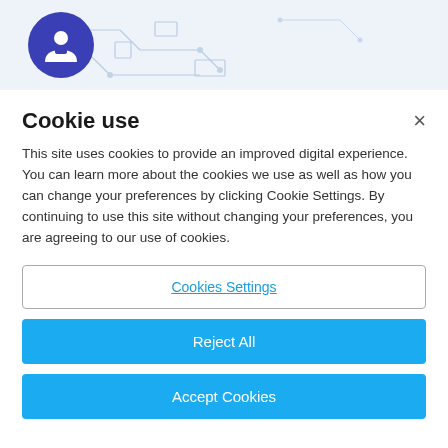[Figure (illustration): Header banner with light blue background showing circuit/technology line art and a dark blue circular avatar icon with a person/user silhouette holding a document.]
Cookie use
This site uses cookies to provide an improved digital experience. You can learn more about the cookies we use as well as how you can change your preferences by clicking Cookie Settings. By continuing to use this site without changing your preferences, you are agreeing to our use of cookies.
Cookies Settings
Reject All
Accept Cookies